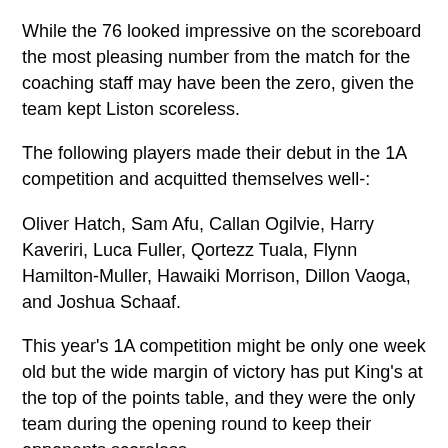While the 76 looked impressive on the scoreboard the most pleasing number from the match for the coaching staff may have been the zero, given the team kept Liston scoreless.
The following players made their debut in the 1A competition and acquitted themselves well-:
Oliver Hatch, Sam Afu, Callan Ogilvie, Harry Kaveriri, Luca Fuller, Qortezz Tuala, Flynn Hamilton-Muller, Hawaiki Morrison, Dillon Vaoga, and Joshua Schaaf.
This year's 1A competition might be only one week old but the wide margin of victory has put King's at the top of the points table, and they were the only team during the opening round to keep their opponents scoreless.
The First XV will travel to De La Salle College for their next game on Saturday 21 May, which begins a blockbuster stretch of six matches where they will then meet St Peter's College, Saint Kentigern College, Auckland Grammar School, Mount Albert Grammar School, and Kelston Boys' High School in consecutive